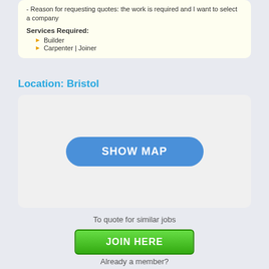- Customer type: an individual/homeowner
- Reason for requesting quotes: the work is required and I want to select a company
Services Required:
Builder
Carpenter | Joiner
Location: Bristol
[Figure (other): Map placeholder area with a 'SHOW MAP' button in the center]
To quote for similar jobs
JOIN HERE
Already a member?